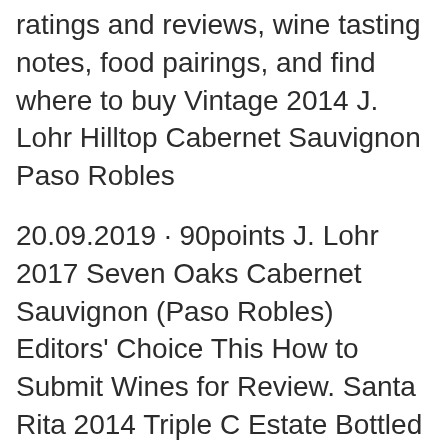ratings and reviews, wine tasting notes, food pairings, and find where to buy Vintage 2014 J. Lohr Hilltop Cabernet Sauvignon Paso Robles
20.09.2019 · 90points J. Lohr 2017 Seven Oaks Cabernet Sauvignon (Paso Robles) Editors' Choice This How to Submit Wines for Review. Santa Rita 2014 Triple C Estate Bottled Red Cabernet Sauvignon food pairings: hearty meat dishes with autumn veggies. Best Beef Wine. This J Lohr Hilltop Cabernet Sauvignon 2013 was reviewed on October 15, 2016 by Natalie MacLean. More Vintages: 2016 2015 2014 2012 2011 . Add New Vintage